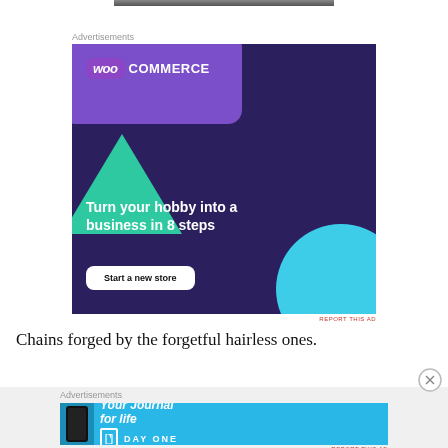[Figure (photo): Top portion of a photo visible at the top of the page, partially cropped]
Advertisements
[Figure (other): WooCommerce advertisement with dark purple background, purple rounded card, green triangle, cyan circle. Text: 'WOO COMMERCE', 'Turn your hobby into a business in 8 steps', button: 'Start a new store']
REPORT THIS AD
Chains forged by the forgetful hairless ones.
Advertisements
[Figure (other): DayOne app advertisement with blue background. Text: 'Your Journal for life', 'DAY ONE' logo with bookmark icon, phone mockup on left side]
REPORT THIS AD